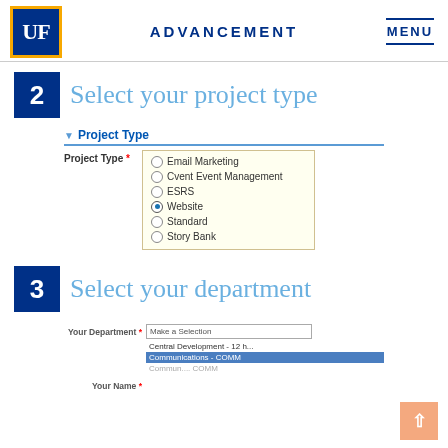UF ADVANCEMENT MENU
2 Select your project type
[Figure (screenshot): Project Type form section showing radio button options: Email Marketing, Cvent Event Management, ESRS, Website (selected), Standard, Story Bank]
3 Select your department
[Figure (screenshot): Department dropdown form showing: Make a Selection, Central Development - 12 hr, Communications - COMM (highlighted/selected), and Your Name field]